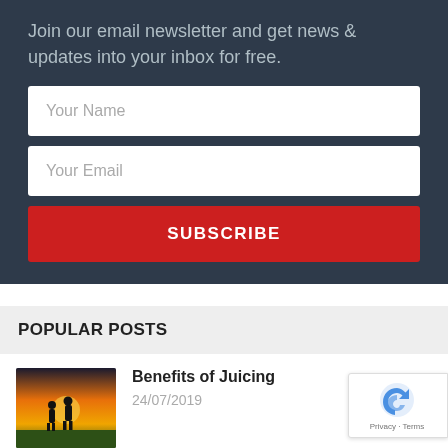Join our email newsletter and get news & updates into your inbox for free.
Your Name
Your Email
SUBSCRIBE
POPULAR POSTS
[Figure (photo): Two people silhouetted against a sunset background]
Benefits of Juicing
24/07/2019
[Figure (photo): Green leafy vegetables, partially visible]
Juicing vs Blending